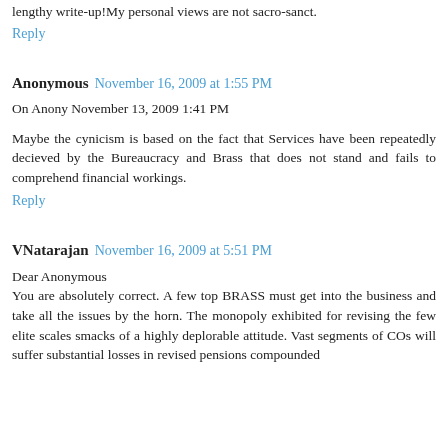lengthy write-up!My personal views are not sacro-sanct.
Reply
Anonymous  November 16, 2009 at 1:55 PM
On Anony November 13, 2009 1:41 PM
Maybe the cynicism is based on the fact that Services have been repeatedly decieved by the Bureaucracy and Brass that does not stand and fails to comprehend financial workings.
Reply
VNatarajan  November 16, 2009 at 5:51 PM
Dear Anonymous
You are absolutely correct. A few top BRASS must get into the business and take all the issues by the horn. The monopoly exhibited for revising the few elite scales smacks of a highly deplorable attitude. Vast segments of COs will suffer substantial losses in revised pensions compounded